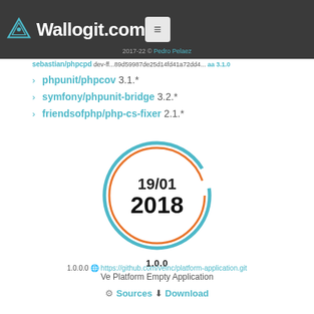Wallogit.com 2017-22 © Pedro Pelaez
phpunit/phpcov 3.1.*
symfony/phpunit-bridge 3.2.*
friendsofphp/php-cs-fixer 2.1.*
[Figure (donut-chart): Circular donut chart showing date 19/01 2018, with teal and orange ring]
1.0.0
1.0.0.0 https://github.com/veinc/platform-application.git
Ve Platform Empty Application
⚙ Sources ⬇ Download